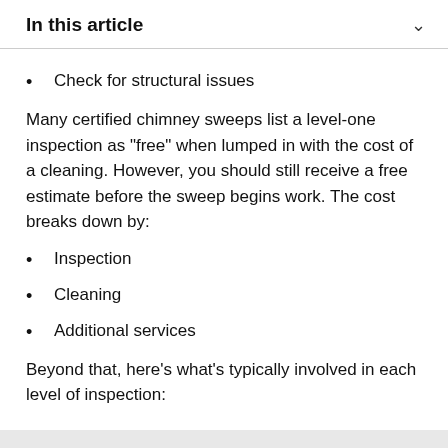In this article
Check for structural issues
Many certified chimney sweeps list a level-one inspection as "free" when lumped in with the cost of a cleaning. However, you should still receive a free estimate before the sweep begins work. The cost breaks down by:
Inspection
Cleaning
Additional services
Beyond that, here’s what’s typically involved in each level of inspection: